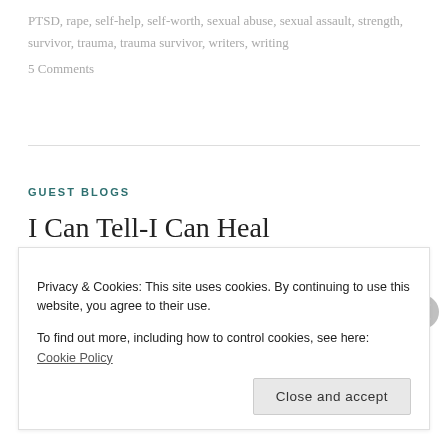PTSD, rape, self-help, self-worth, sexual abuse, sexual assault, strength, survivor, trauma, trauma survivor, writers, writing
5 Comments
GUEST BLOGS
I Can Tell-I Can Heal
August 15, 2018   iwalkwithalimp
Privacy & Cookies: This site uses cookies. By continuing to use this website, you agree to their use. To find out more, including how to control cookies, see here: Cookie Policy
Close and accept